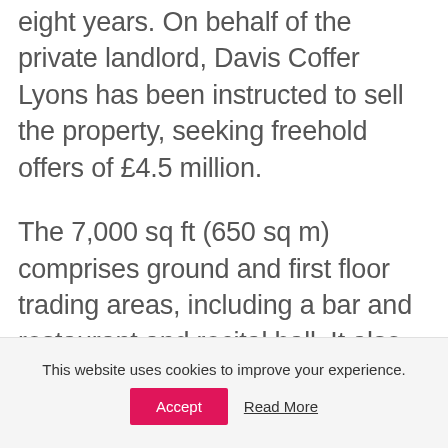eight years. On behalf of the private landlord, Davis Coffer Lyons has been instructed to sell the property, seeking freehold offers of £4.5 million.
The 7,000 sq ft (650 sq m) comprises ground and first floor trading areas, including a bar and restaurant and recital hall. It also includes three one bedroom flats separately on the third
This website uses cookies to improve your experience.
Accept  Read More